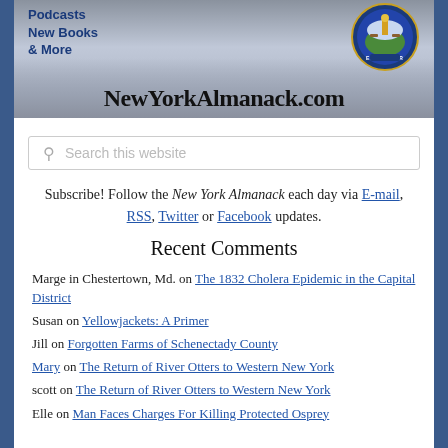[Figure (screenshot): NewYorkAlmanack.com website banner with city skyline background, New York state seal, text 'Podcasts New Books & More' and site name]
Search this website
Subscribe! Follow the New York Almanack each day via E-mail, RSS, Twitter or Facebook updates.
Recent Comments
Marge in Chestertown, Md. on The 1832 Cholera Epidemic in the Capital District
Susan on Yellowjackets: A Primer
Jill on Forgotten Farms of Schenectady County
Mary on The Return of River Otters to Western New York
scott on The Return of River Otters to Western New York
Elle on Man Faces Charges For Killing Protected Osprey